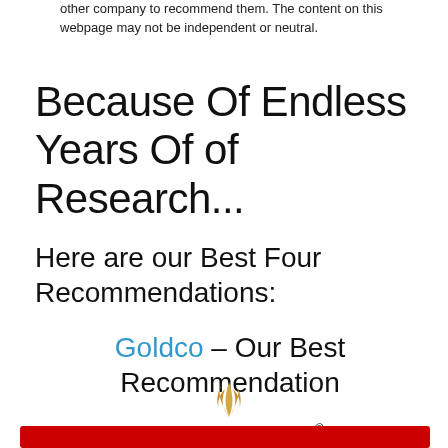other company to recommend them. The content on this webpage may not be independent or neutral.
Because Of Endless Years Of of Research...
Here are our Best Four Recommendations:
Goldco – Our Best Recommendation
[Figure (logo): Goldco logo with golden flame/leaf icon above the text GOLDCO in large serif font with registered trademark symbol]
[Figure (other): Red bar/button at the bottom of the page]